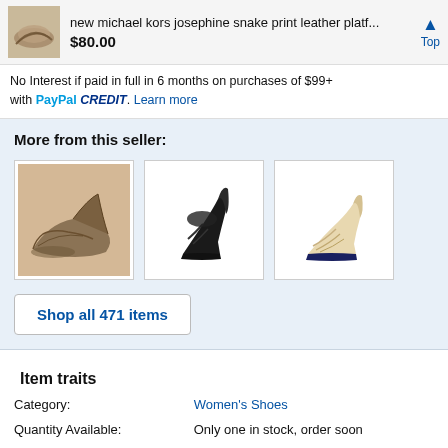new michael kors josephine snake print leather platf... $80.00 Top
No Interest if paid in full in 6 months on purchases of $99+ with PayPal CREDIT. Learn more
More from this seller:
[Figure (photo): Three product images of women's heeled shoes from the seller]
Shop all 471 items
Item traits
| Trait | Value |
| --- | --- |
| Category: | Women's Shoes |
| Quantity Available: | Only one in stock, order soon |
| Condition: | New with box |
| Style: | Clogs & Mules |